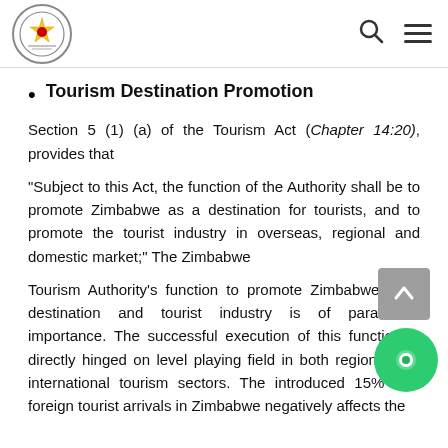Parliament of Zimbabwe
Tourism Destination Promotion
Section 5 (1) (a) of the Tourism Act (Chapter 14:20), provides that
“Subject to this Act, the function of the Authority shall be to promote Zimbabwe as a destination for tourists, and to promote the tourist industry in overseas, regional and domestic market;” The Zimbabwe
Tourism Authority’s function to promote Zimbabwe as a destination and tourist industry is of paramount importance. The successful execution of this function is directly hinged on level playing field in both regional and international tourism sectors. The introduced 15% on foreign tourist arrivals in Zimbabwe negatively affects the